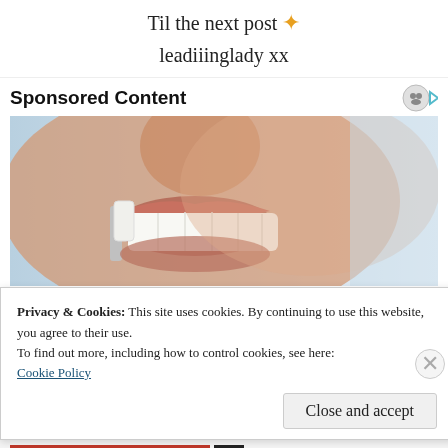Til the next post ✨
leadiiinglady xx
Sponsored Content
[Figure (photo): Close-up photo of a woman smiling, holding a dental veneer up to her teeth]
Privacy & Cookies: This site uses cookies. By continuing to use this website, you agree to their use.
To find out more, including how to control cookies, see here:
Cookie Policy
Close and accept